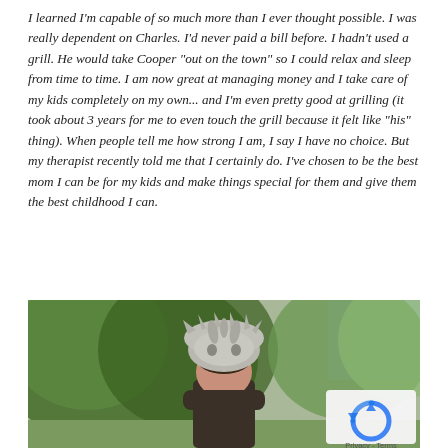I learned I'm capable of so much more than I ever thought possible. I was really dependent on Charles. I'd never paid a bill before. I hadn't used a grill. He would take Cooper "out on the town" so I could relax and sleep from time to time. I am now great at managing money and I take care of my kids completely on my own... and I'm even pretty good at grilling (it took about 3 years for me to even touch the grill because it felt like "his" thing). When people tell me how strong I am, I say I have no choice. But my therapist recently told me that I certainly do. I've chosen to be the best mom I can be for my kids and make things special for them and give them the best childhood I can.
[Figure (photo): Person wearing a gray dinosaur/triceratops animal hat, standing outdoors in front of green foliage/trees with a blue building visible in the background. A reCAPTCHA privacy badge is overlaid in the bottom-right corner.]